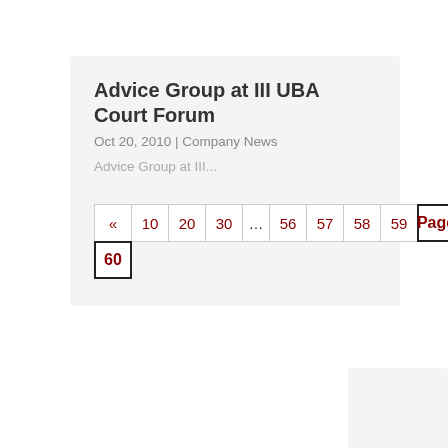Advice Group at III UBA Court Forum
Oct 20, 2010 | Company News
Advice Group at III...
« 10 20 30 … 56 57 58 59 Page 60